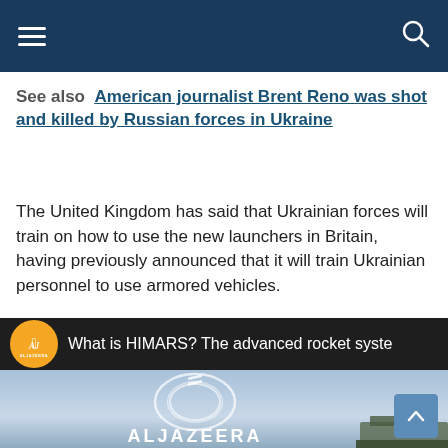[Navigation bar with hamburger menu and search icon]
See also  American journalist Brent Reno was shot and killed by Russian forces in Ukraine
The United Kingdom has said that Ukrainian forces will train on how to use the new launchers in Britain, having previously announced that it will train Ukrainian personnel to use armored vehicles.
[Figure (screenshot): Al Jazeera YouTube video thumbnail with text 'What is HIMARS? The advanced rocket syste' visible. Shows Al Jazeera logo (Arabic calligraphy and ALJAZEERA branding) on a light blue/grey sky background with military vehicle partially visible. Orange Al Jazeera circle logo in top left corner. Scroll-up button in bottom right.]